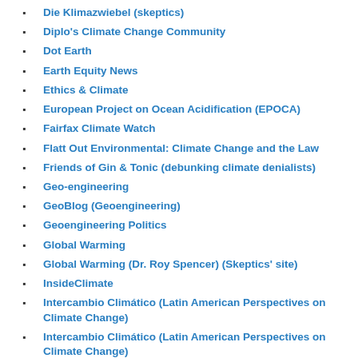Die Klimazwiebel (skeptics)
Diplo's Climate Change Community
Dot Earth
Earth Equity News
Ethics & Climate
European Project on Ocean Acidification (EPOCA)
Fairfax Climate Watch
Flatt Out Environmental: Climate Change and the Law
Friends of Gin & Tonic (debunking climate denialists)
Geo-engineering
GeoBlog (Geoengineering)
Geoengineering Politics
Global Warming
Global Warming (Dr. Roy Spencer) (Skeptics' site)
InsideClimate
Intercambio Climático (Latin American Perspectives on Climate Change)
Intercambio Climático (Latin American Perspectives on Climate Change)
Intercambio Climático (Latin American Perspectives on Climate Change)
Intercambio Climático: Blog of the Latin American